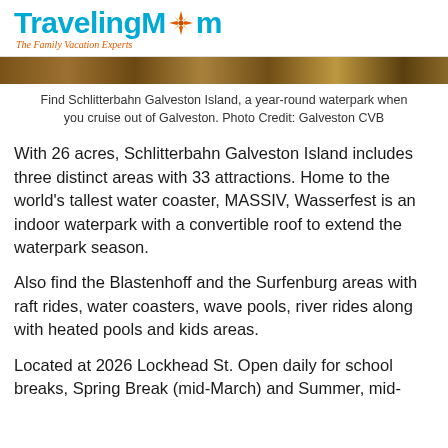TravelingMom - The Family Vacation Experts
[Figure (photo): Outdoor photo strip showing Schlitterbahn Galveston Island waterpark scene]
Find Schlitterbahn Galveston Island, a year-round waterpark when you cruise out of Galveston. Photo Credit: Galveston CVB
With 26 acres, Schlitterbahn Galveston Island includes three distinct areas with 33 attractions. Home to the world’s tallest water coaster, MASSIV, Wasserfest is an indoor waterpark with a convertible roof to extend the waterpark season.
Also find the Blastenhoff and the Surfenburg areas with raft rides, water coasters, wave pools, river rides along with heated pools and kids areas.
Located at 2026 Lockhead St. Open daily for school breaks, Spring Break (mid-March) and Summer, mid-